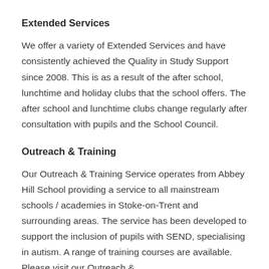Extended Services
We offer a variety of Extended Services and have consistently achieved the Quality in Study Support since 2008. This is as a result of the after school, lunchtime and holiday clubs that the school offers. The after school and lunchtime clubs change regularly after consultation with pupils and the School Council.
Outreach & Training
Our Outreach & Training Service operates from Abbey Hill School providing a service to all mainstream schools / academies in Stoke-on-Trent and surrounding areas. The service has been developed to support the inclusion of pupils with SEND, specialising in autism. A range of training courses are available. Please visit our Outreach &